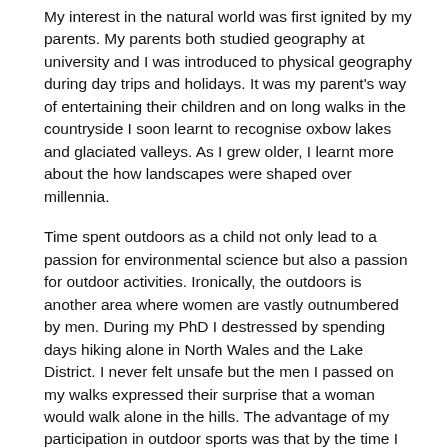My interest in the natural world was first ignited by my parents. My parents both studied geography at university and I was introduced to physical geography during day trips and holidays. It was my parent's way of entertaining their children and on long walks in the countryside I soon learnt to recognise oxbow lakes and glaciated valleys. As I grew older, I learnt more about the how landscapes were shaped over millennia.
Time spent outdoors as a child not only lead to a passion for environmental science but also a passion for outdoor activities. Ironically, the outdoors is another area where women are vastly outnumbered by men. During my PhD I destressed by spending days hiking alone in North Wales and the Lake District. I never felt unsafe but the men I passed on my walks expressed their surprise that a woman would walk alone in the hills. The advantage of my participation in outdoor sports was that by the time I went to university I was used to being in the minority, one of only a few women in a large group of men.